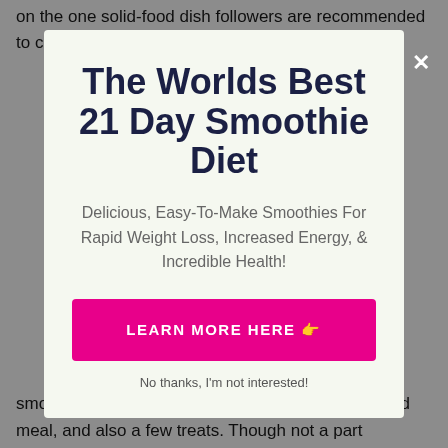on the one solid-food dish followers are recommended to consume daily (including
The Worlds Best 21 Day Smoothie Diet
Delicious, Easy-To-Make Smoothies For Rapid Weight Loss, Increased Energy, & Incredible Health!
LEARN MORE HERE 👉
No thanks, I'm not interested!
smoothies (breakfast and also lunch), one solid-food meal, and also a few treats. Though not a part